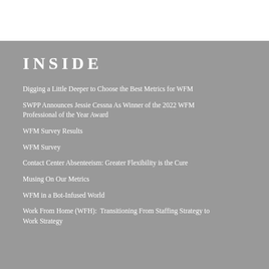INSIDE
Digging a Little Deeper to Choose the Best Metrics for WFM
SWPP Announces Jessie Cessna As Winner of the 2022 WFM Professional of the Year Award
WFM Survey Results
WFM Survey
Contact Center Absenteeism: Greater Flexibility is the Cure
Musing On Our Metrics
WFM in a Bot-Infused World
Work From Home (WFH):  Transitioning From Staffing Strategy to Work Strategy